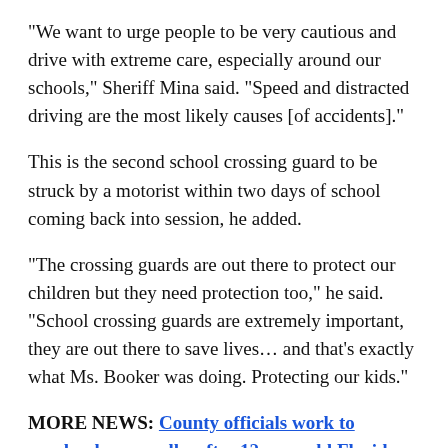"We want to urge people to be very cautious and drive with extreme care, especially around our schools," Sheriff Mina said. "Speed and distracted driving are the most likely causes [of accidents]."
This is the second school crossing guard to be struck by a motorist within two days of school coming back into session, he added.
"The crossing guards are out there to protect our children but they need protection too," he said. "School crossing guards are extremely important, they are out there to save lives… and that's exactly what Ms. Booker was doing. Protecting our kids."
MORE NEWS: County officials work to overhaul crosswalks after 12-year-old Florida girl dies while crossing the road